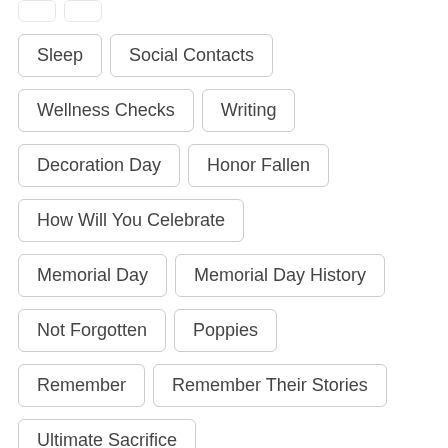Sleep
Social Contacts
Wellness Checks
Writing
Decoration Day
Honor Fallen
How Will You Celebrate
Memorial Day
Memorial Day History
Not Forgotten
Poppies
Remember
Remember Their Stories
Ultimate Sacrifice
What is Memorial Day
Adversity
Advice
Facing Hardships
History